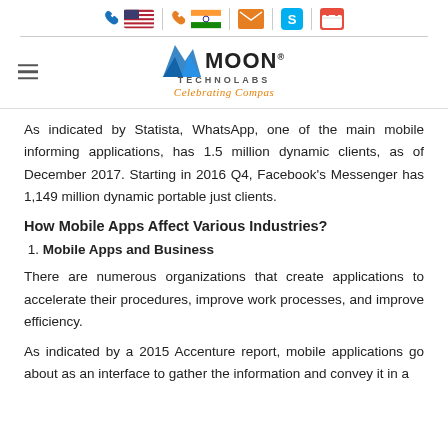Moon Technolabs - Celebrating Compa... [header with navigation icons]
As indicated by Statista, WhatsApp, one of the main mobile informing applications, has 1.5 million dynamic clients, as of December 2017. Starting in 2016 Q4, Facebook's Messenger has 1,149 million dynamic portable just clients.
How Mobile Apps Affect Various Industries?
1. Mobile Apps and Business
There are numerous organizations that create applications to accelerate their procedures, improve work processes, and improve efficiency.
As indicated by a 2015 Accenture report, mobile applications go about as an interface to gather the information and convey it in a